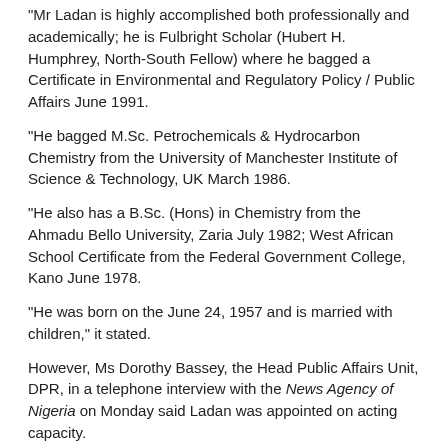“Mr Ladan is highly accomplished both professionally and academically; he is Fulbright Scholar (Hubert H. Humphrey, North-South Fellow) where he bagged a Certificate in Environmental and Regulatory Policy / Public Affairs June 1991.
“He bagged M.Sc. Petrochemicals & Hydrocarbon Chemistry from the University of Manchester Institute of Science & Technology, UK March 1986.
“He also has a B.Sc. (Hons) in Chemistry from the Ahmadu Bello University, Zaria July 1982; West African School Certificate from the Federal Government College, Kano June 1978.
“He was born on the June 24, 1957 and is married with children,” it stated.
However, Ms Dorothy Bassey, the Head Public Affairs Unit, DPR, in a telephone interview with the News Agency of Nigeria on Monday said Ladan was appointed on acting capacity.
Source - NAN